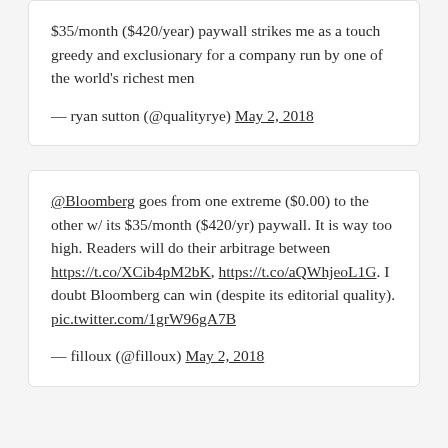$35/month ($420/year) paywall strikes me as a touch greedy and exclusionary for a company run by one of the world's richest men
— ryan sutton (@qualityrye) May 2, 2018
@Bloomberg goes from one extreme ($0.00) to the other w/ its $35/month ($420/yr) paywall. It is way too high. Readers will do their arbitrage between https://t.co/XCib4pM2bK, https://t.co/aQWhjeoL1G. I doubt Bloomberg can win (despite its editorial quality). pic.twitter.com/1grW96gA7B
— filloux (@filloux) May 2, 2018